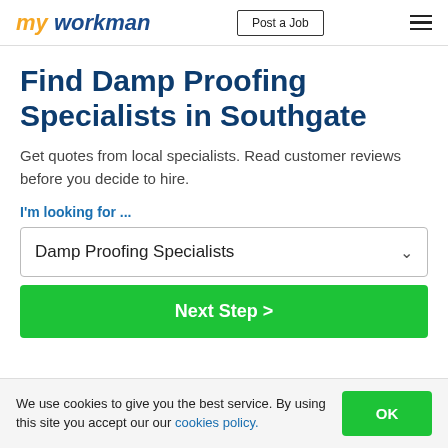my workman | Post a Job
Find Damp Proofing Specialists in Southgate
Get quotes from local specialists. Read customer reviews before you decide to hire.
I'm looking for ...
Damp Proofing Specialists
Next Step >
We use cookies to give you the best service. By using this site you accept our our cookies policy.